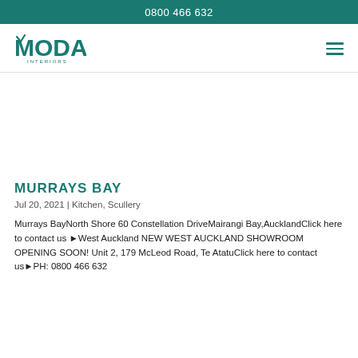0800 466 632
[Figure (logo): Moda Interiors logo in teal]
MURRAYS BAY
Jul 20, 2021 | Kitchen, Scullery
Murrays BayNorth Shore 60 Constellation DriveMairangi Bay,AucklandClick here to contact us ▶West Auckland NEW WEST AUCKLAND SHOWROOM OPENING SOON! Unit 2, 179 McLeod Road, Te AtatuClick here to contact us▶PH: 0800 466 632